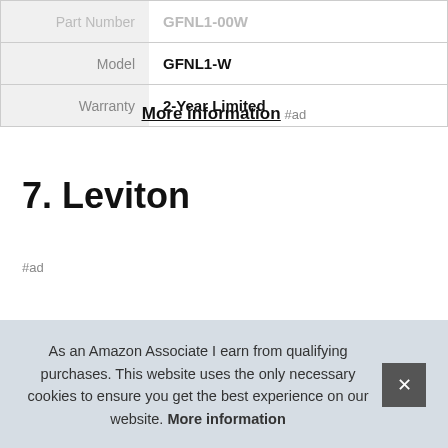| Part Number | GFNL1-00W |
| Model | GFNL1-W |
| Warranty | 2-Year Limited |
More information #ad
7. Leviton
#ad
As an Amazon Associate I earn from qualifying purchases. This website uses the only necessary cookies to ensure you get the best experience on our website. More information